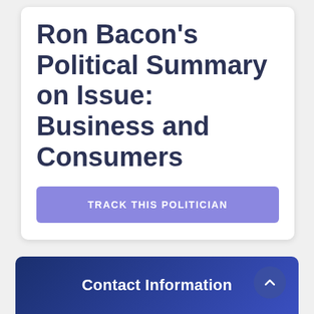Ron Bacon's Political Summary on Issue: Business and Consumers
TRACK THIS POLITICIAN
Contact Information